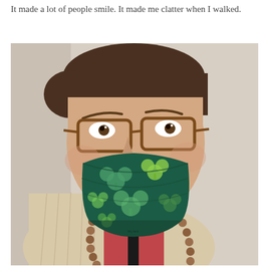It made a lot of people smile. It made me clatter when I walked.
[Figure (photo): Selfie of a person wearing a dark green face mask with shamrock/clover pattern, tortoiseshell glasses, a beige knit cardigan over a red tank top, and a long brown bead necklace. Background is a light beige/cream wall.]